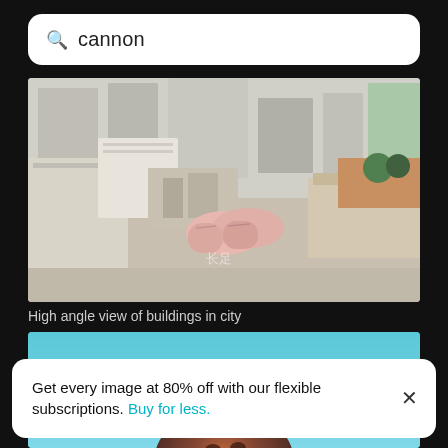cannon
[Figure (photo): High angle aerial view of urban city buildings with rooftops, a pair of pink sneakers visible in center foreground, taken from above]
High angle view of buildings in city
[Figure (photo): Photo with cyan/turquoise sky background showing a blurry round object in foreground]
Get every image at 80% off with our flexible subscriptions. Buy for less.